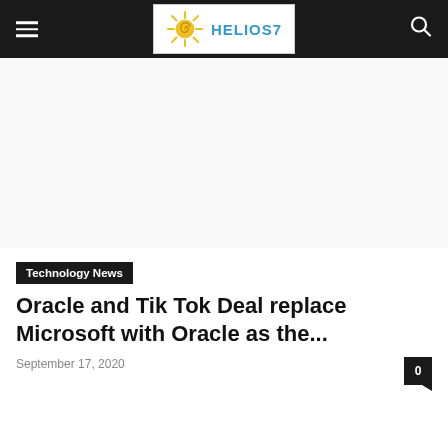HELIOS7
[Figure (other): Advertisement/blank area below header]
Technology News
Oracle and Tik Tok Deal replace Microsoft with Oracle as the...
September 17, 2020
0